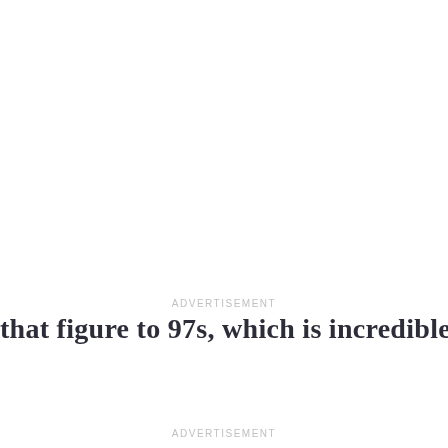that figure to 97s, which is incredible.
ADVERTISEMENT
ADVERTISEMENT